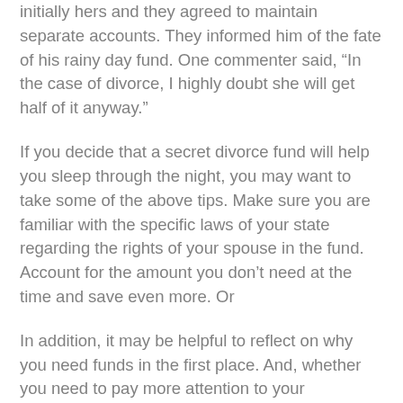initially hers and they agreed to maintain separate accounts. They informed him of the fate of his rainy day fund. One commenter said, “In the case of divorce, I highly doubt she will get half of it anyway.”
If you decide that a secret divorce fund will help you sleep through the night, you may want to take some of the above tips. Make sure you are familiar with the specific laws of your state regarding the rights of your spouse in the fund. Account for the amount you don’t need at the time and save even more. Or
In addition, it may be helpful to reflect on why you need funds in the first place. And, whether you need to pay more attention to your relationship with your wife.
More from advice